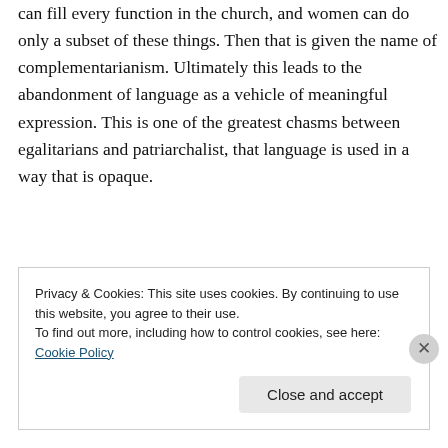can fill every function in the church, and women can do only a subset of these things. Then that is given the name of complementarianism. Ultimately this leads to the abandonment of language as a vehicle of meaningful expression. This is one of the greatest chasms between egalitarians and patriarchalist, that language is used in a way that is opaque.
Privacy & Cookies: This site uses cookies. By continuing to use this website, you agree to their use. To find out more, including how to control cookies, see here: Cookie Policy